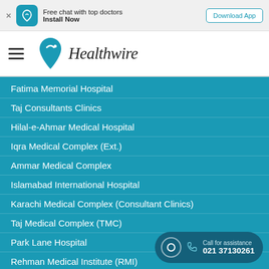[Figure (screenshot): App download banner with Healthwire app icon, text 'Free chat with top doctors / Install Now', and a 'Download App' button]
[Figure (logo): Healthwire logo with teal heart/location pin icon and italic 'Healthwire' text, with hamburger menu icon to the left]
Fatima Memorial Hospital
Taj Consultants Clinics
Hilal-e-Ahmar Medical Hospital
Iqra Medical Complex (Ext.)
Ammar Medical Complex
Islamabad International Hospital
Karachi Medical Complex (Consultant Clinics)
Taj Medical Complex (TMC)
Park Lane Hospital
Rehman Medical Institute (RMI)
Concept Fertility Centre (Karachi)
Mega Medical Complex
Reliance Hospital